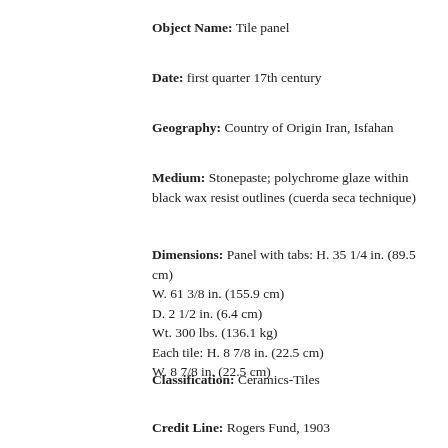Object Name: Tile panel
Date: first quarter 17th century
Geography: Country of Origin Iran, Isfahan
Medium: Stonepaste; polychrome glaze within black wax resist outlines (cuerda seca technique)
Dimensions: Panel with tabs: H. 35 1/4 in. (89.5 cm) W. 61 3/8 in. (155.9 cm) D. 2 1/2 in. (6.4 cm) Wt. 300 lbs. (136.1 kg) Each tile: H. 8 7/8 in. (22.5 cm) W. 8 7/8 in. (22.5 cm)
Classification: Ceramics-Tiles
Credit Line: Rogers Fund, 1903